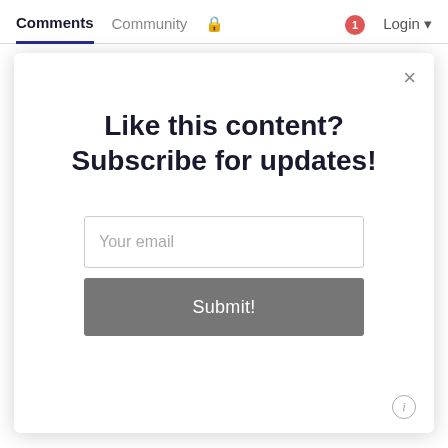Comments  Community  🔒  1  Login
♡ Favorite    Sort by Best ▾
[Figure (screenshot): A modal dialog overlaying a comments section. The modal has a close (×) button in the top-right, a bold heading 'Like this content? Subscribe for updates!', an email input field with placeholder 'Your email', and a grey 'Submit!' button. An info icon (ⓘ) is in the bottom-right corner of the modal.]